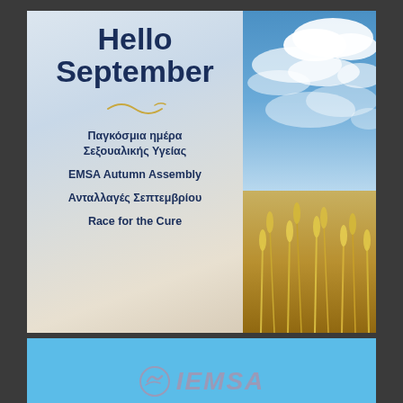Hello September
Παγκόσμια ημέρα Σεξουαλικής Υγείας
EMSA Autumn Assembly
Ανταλλαγές Σεπτεμβρίου
Race for the Cure
[Figure (photo): Sky with clouds and wheat field, split-panel background]
[Figure (logo): EMSA logo with circular emblem and text IEMSA on light blue background]